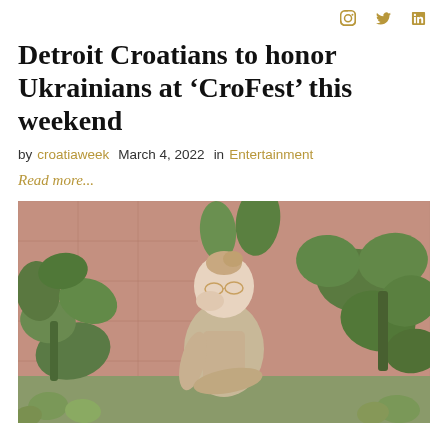f  twitter  instagram (social icons)
Detroit Croatians to honor Ukrainians at 'CroFest' this weekend
by croatiaweek  March 4, 2022  in  Entertainment
Read more...
[Figure (photo): A woman with glasses and her hair up in a bun sits in front of large green cacti and a pink/terracotta wall, wearing a beige short-sleeved shirt, resting her cheek on her hand.]